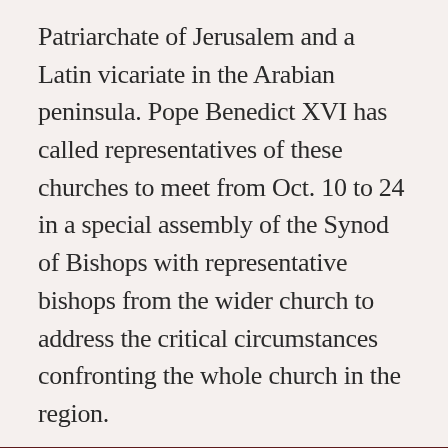Patriarchate of Jerusalem and a Latin vicariate in the Arabian peninsula. Pope Benedict XVI has called representatives of these churches to meet from Oct. 10 to 24 in a special assembly of the Synod of Bishops with representative bishops from the wider church to address the critical circumstances confronting the whole church in the region.
Read more from America
[Figure (photo): Photo of Pope Francis in white papal attire, seated, gesturing with his right hand]
Pope Francis to give women a role in choosing...
Cindy Wooden - Catholic News Service